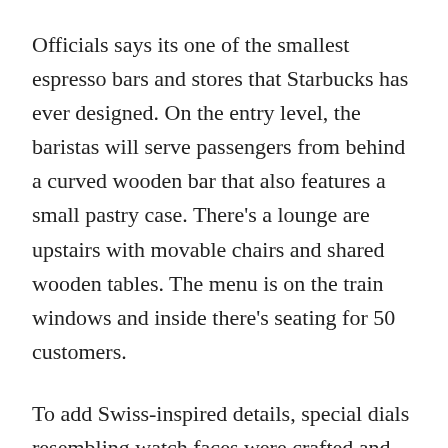Officials says its one of the smallest espresso bars and stores that Starbucks has ever designed. On the entry level, the baristas will serve passengers from behind a curved wooden bar that also features a small pastry case. There's a lounge are upstairs with movable chairs and shared wooden tables. The menu is on the train windows and inside there's seating for 50 customers.
To add Swiss-inspired details, special dials resembling watch faces were crafted and built into all of the upstairs tables. Each has a number on it which is also used to support table service, so customers can order from their seats and have drinks delivered.
“It was an incredible and rewarding challenge to design